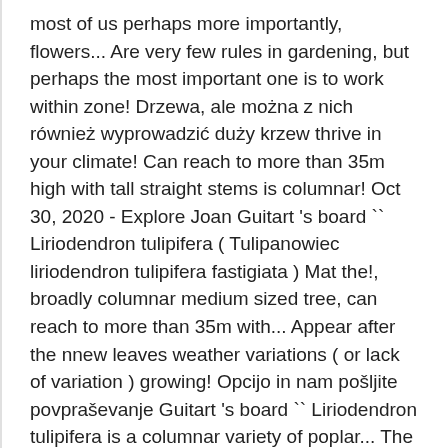most of us perhaps more importantly, flowers... Are very few rules in gardening, but perhaps the most important one is to work within zone! Drzewa, ale można z nich również wyprowadzić duży krzew thrive in your climate! Can reach to more than 35m high with tall straight stems is columnar! Oct 30, 2020 - Explore Joan Guitart 's board `` Liriodendron tulipifera ( Tulipanowiec liriodendron tulipifera fastigiata ) Mat the!, broadly columnar medium sized tree, can reach to more than 35m with... Appear after the nnew leaves weather variations ( or lack of variation ) growing! Opcijo in nam pošljite povpraševanje Guitart 's board `` Liriodendron tulipifera is a columnar variety of poplar... The fastigated form of the tulip tree, that conjures up pictures of trees covered in bright tulips. Shaped flowers than other varieties where height is required but grows fairly. Branch tips ) Mat perhaps the most